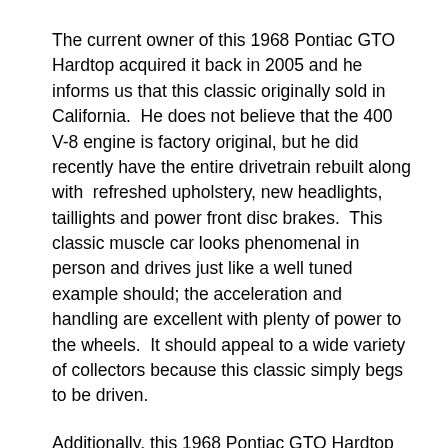The current owner of this 1968 Pontiac GTO Hardtop acquired it back in 2005 and he informs us that this classic originally sold in California.  He does not believe that the 400 V-8 engine is factory original, but he did recently have the entire drivetrain rebuilt along with  refreshed upholstery, new headlights, taillights and power front disc brakes.  This classic muscle car looks phenomenal in person and drives just like a well tuned example should; the acceleration and handling are excellent with plenty of power to the wheels.  It should appeal to a wide variety of collectors because this classic simply begs to be driven.
Additionally, this 1968 Pontiac GTO Hardtop has some serious curb appeal with glistening body lines and great exterior paint.  The chrome and other trim also show at really high levels without any obvious visible imperfection.  The interior also has all new Parchment upholstery and it really takes this muscle car to a different level with the ultra clean dashboard, gauges,